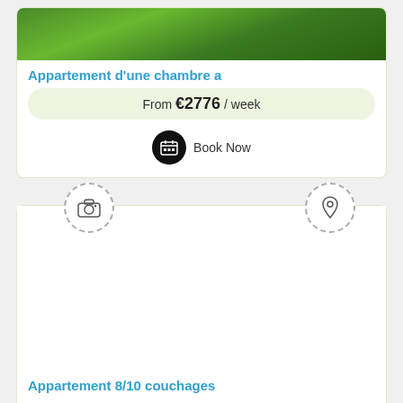[Figure (photo): Green foliage/nature photo at top of first listing card]
Appartement d'une chambre a
From €2776 / week
Book Now
[Figure (illustration): Second listing card with camera icon placeholder and map pin icon, no photo loaded]
Appartement 8/10 couchages
From €2511 / week